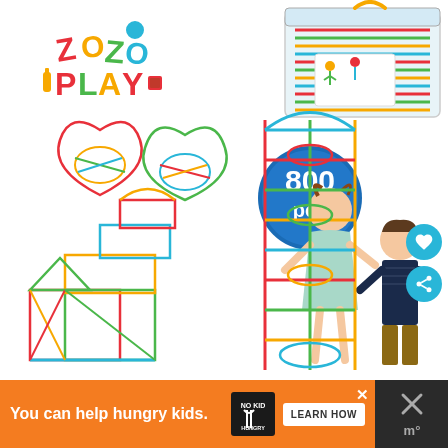[Figure (photo): Product photo of ZozoPlay 800-piece straw building set. Shows the brand logo top-left (colorful 'ZOZOPLAY' text with cartoon elements), a plastic storage container top-right filled with colorful straws, two teardrop/heart shapes made from colorful straws in the middle-left area, a '800 pcs' badge in blue circle, a large castle structure built from colorful straws on the bottom-left, and two children building a tall tower with the straws on the bottom-right. Heart and share icons visible on far right edge.]
You can help hungry kids. NOKID HUNGRY LEARN HOW